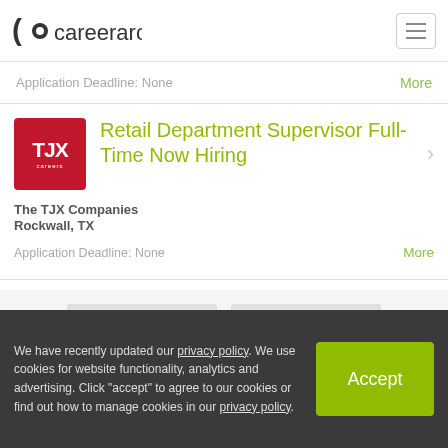careerarc
Application Deadline: None
More
Retail Department Supervisor Full-Time Now Hiring
The TJX Companies
Rockwall, TX
Application Deadline: None
More
◄ PREV
NEXT ►
We have recently updated our privacy policy. We use cookies for website functionality, analytics and advertising. Click "accept" to agree to our cookies or find out how to manage cookies in our privacy policy.
Accept